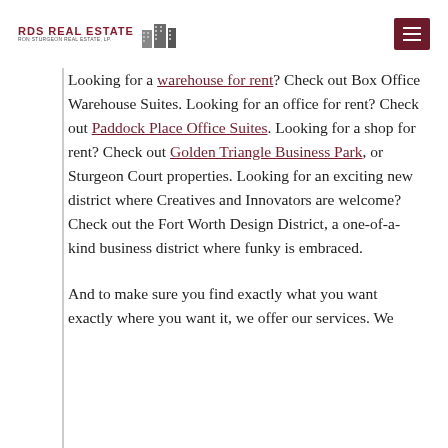RDS REAL ESTATE RON STURGEON REAL ESTATE, LP.
Looking for a warehouse for rent? Check out Box Office Warehouse Suites.  Looking for an office for rent? Check out Paddock Place Office Suites.  Looking for a shop for rent? Check out Golden Triangle Business Park, or Sturgeon Court properties.  Looking for an exciting new district where Creatives and Innovators are welcome? Check out the Fort Worth Design District, a one-of-a-kind business district where funky is embraced.
And to make sure you find exactly what you want exactly where you want it, we offer our services.  We